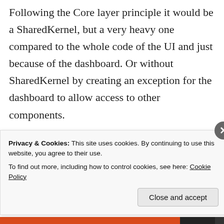Following the Core layer principle it would be a SharedKernel, but a very heavy one compared to the whole code of the UI and just because of the dashboard. Or without SharedKernel by creating an exception for the dashboard to allow access to other components.
I tend to the exception but would like to hear your opinion.
★ Like
⬦ Reply
Privacy & Cookies: This site uses cookies. By continuing to use this website, you agree to their use.
To find out more, including how to control cookies, see here: Cookie Policy